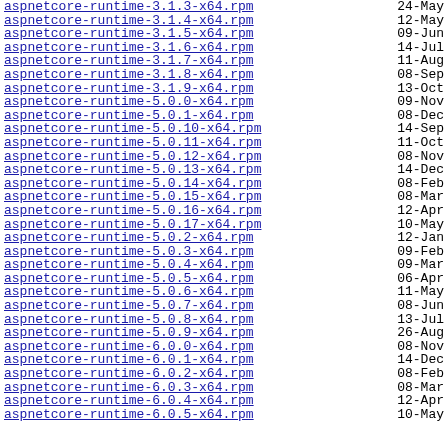aspnetcore-runtime-3.1.3-x64.rpm  24-May
aspnetcore-runtime-3.1.4-x64.rpm  12-May
aspnetcore-runtime-3.1.5-x64.rpm  09-Jun
aspnetcore-runtime-3.1.6-x64.rpm  14-Jul
aspnetcore-runtime-3.1.7-x64.rpm  11-Aug
aspnetcore-runtime-3.1.8-x64.rpm  08-Sep
aspnetcore-runtime-3.1.9-x64.rpm  13-Oct
aspnetcore-runtime-5.0.0-x64.rpm  09-Nov
aspnetcore-runtime-5.0.1-x64.rpm  08-Dec
aspnetcore-runtime-5.0.10-x64.rpm  14-Sep
aspnetcore-runtime-5.0.11-x64.rpm  11-Oct
aspnetcore-runtime-5.0.12-x64.rpm  08-Nov
aspnetcore-runtime-5.0.13-x64.rpm  14-Dec
aspnetcore-runtime-5.0.14-x64.rpm  08-Feb
aspnetcore-runtime-5.0.15-x64.rpm  08-Mar
aspnetcore-runtime-5.0.16-x64.rpm  12-Apr
aspnetcore-runtime-5.0.17-x64.rpm  10-May
aspnetcore-runtime-5.0.2-x64.rpm  12-Jan
aspnetcore-runtime-5.0.3-x64.rpm  09-Feb
aspnetcore-runtime-5.0.4-x64.rpm  09-Mar
aspnetcore-runtime-5.0.5-x64.rpm  06-Apr
aspnetcore-runtime-5.0.6-x64.rpm  11-May
aspnetcore-runtime-5.0.7-x64.rpm  08-Jun
aspnetcore-runtime-5.0.8-x64.rpm  13-Jul
aspnetcore-runtime-5.0.9-x64.rpm  26-Aug
aspnetcore-runtime-6.0.0-x64.rpm  08-Nov
aspnetcore-runtime-6.0.1-x64.rpm  14-Dec
aspnetcore-runtime-6.0.2-x64.rpm  08-Feb
aspnetcore-runtime-6.0.3-x64.rpm  08-Mar
aspnetcore-runtime-6.0.4-x64.rpm  12-Apr
aspnetcore-runtime-6.0.5-x64.rpm  10-May